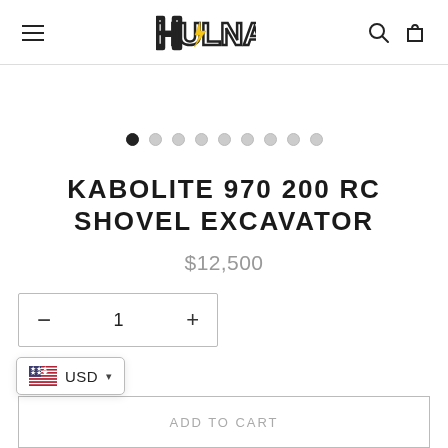HULNA — navigation header with hamburger menu, logo, search and cart icons
[Figure (other): Carousel image area (empty/white) with 9 pagination dots, first dot filled/active]
KABOLITE 970 200 RC SHOVEL EXCAVATOR
$12,500
Quantity selector: − 1 +
USD currency selector with US flag
ADD TO CART